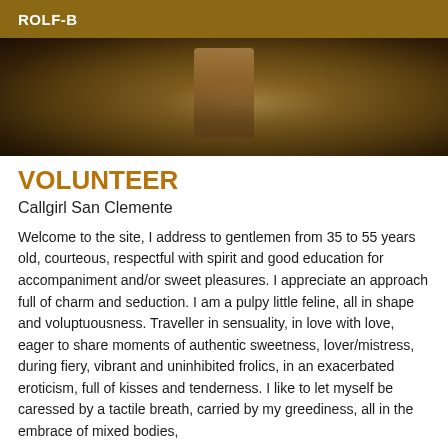ROLF-B
[Figure (photo): Close-up photograph with warm brown and golden tones, partially cropped figure]
VOLUNTEER
Callgirl San Clemente
Welcome to the site, I address to gentlemen from 35 to 55 years old, courteous, respectful with spirit and good education for accompaniment and/or sweet pleasures. I appreciate an approach full of charm and seduction. I am a pulpy little feline, all in shape and voluptuousness. Traveller in sensuality, in love with love, eager to share moments of authentic sweetness, lover/mistress, during fiery, vibrant and uninhibited frolics, in an exacerbated eroticism, full of kisses and tenderness. I like to let myself be caressed by a tactile breath, carried by my greediness, all in the embrace of mixed bodies,